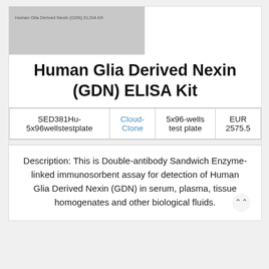[Figure (photo): Thumbnail image placeholder for Human Glia Derived Nexin (GDN) ELISA Kit product]
Human Glia Derived Nexin (GDN) ELISA Kit
| Product ID | Supplier | Size | Price |
| --- | --- | --- | --- |
| SED381Hu-5x96wellstestplate | Cloud-Clone | 5x96-wells test plate | EUR 2575.5 |
Description: This is Double-antibody Sandwich Enzyme-linked immunosorbent assay for detection of Human Glia Derived Nexin (GDN) in serum, plasma, tissue homogenates and other biological fluids.